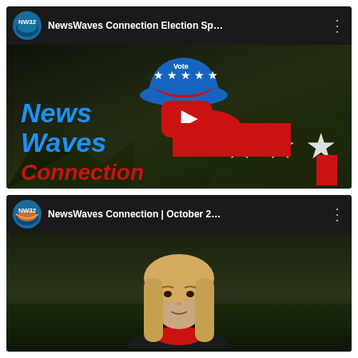[Figure (screenshot): YouTube video card showing 'NewsWaves Connection Election Sp...' with NW32 channel icon, thumbnail showing News Waves Connection branding with blue/red text, stars, play button, and landscape background]
[Figure (screenshot): YouTube video card showing 'NewsWaves Connection | October 2...' with NW32 channel icon, thumbnail showing a blonde woman's face against outdoor background]